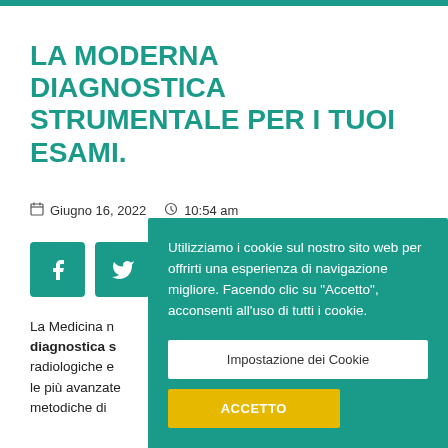La moderna diagnostica strumentale per i tuoi esami.
Giugno 16, 2022   10:54 am
[Figure (other): Two social media share buttons: Facebook and Twitter, teal colored square buttons]
[Figure (screenshot): Cookie consent overlay banner in teal with text: Utilizziamo i cookie sul nostro sito web per offrirti una esperienza di navigazione migliore. Facendo clic su Accetto, acconsenti all uso di tutti i cookie. Two buttons: Impostazione dei Cookie (white) and ACCETTO (yellow).]
La Medicina n... diagnostica s... radiologiche e le più avanzate metodiche di